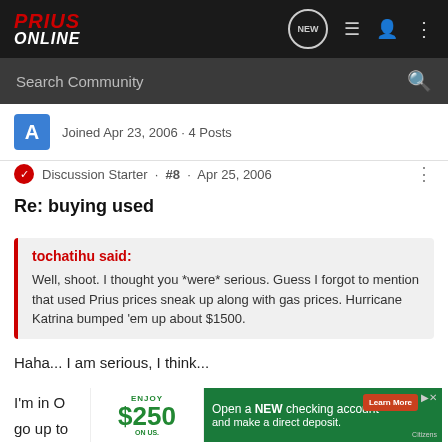PriusOnline - navigation bar with logo, NEW, list, user, menu icons
Search Community
Joined Apr 23, 2006 · 4 Posts
Discussion Starter · #8 · Apr 25, 2006
Re: buying used
tochatihu said:
Well, shoot. I thought you *were* serious. Guess I forgot to mention that used Prius prices sneak up along with gas prices. Hurricane Katrina bumped 'em up about $1500.
Haha... I am serious, I think...
I'm in O ... here at go up to ... ne